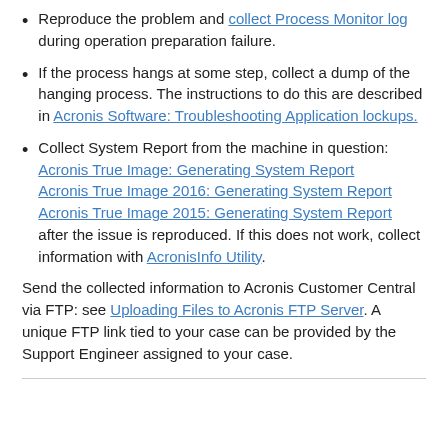Reproduce the problem and collect Process Monitor log during operation preparation failure.
If the process hangs at some step, collect a dump of the hanging process. The instructions to do this are described in Acronis Software: Troubleshooting Application lockups.
Collect System Report from the machine in question: Acronis True Image: Generating System Report Acronis True Image 2016: Generating System Report Acronis True Image 2015: Generating System Report after the issue is reproduced. If this does not work, collect information with AcronisInfo Utility.
Send the collected information to Acronis Customer Central via FTP: see Uploading Files to Acronis FTP Server. A unique FTP link tied to your case can be provided by the Support Engineer assigned to your case.